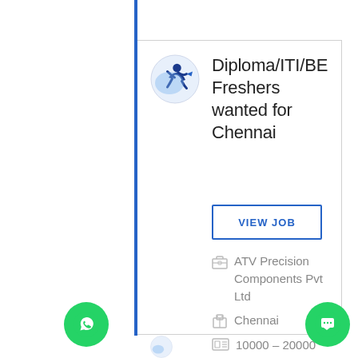[Figure (logo): Job portal logo - blue circular icon with a stylized person figure]
Diploma/ITI/BE Freshers wanted for Chennai
VIEW JOB
ATV Precision Components Pvt Ltd
Chennai
10000 – 20000 PM